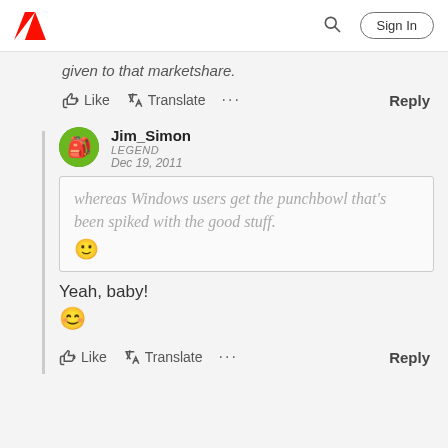Adobe | Sign In
given to that marketshare.
Like  Translate  ...  Reply
Jim_Simon
LEGEND
Dec 19, 2011
whereas Windows users get the punchbowl that's been spiked with the good stuff. 😊
Yeah, baby!
😊
Like  Translate  ...  Reply